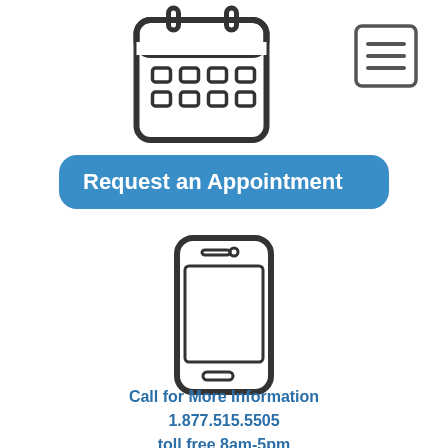[Figure (illustration): Calendar icon - outline style with grid of date boxes]
[Figure (illustration): Hamburger menu icon - three horizontal lines in a square border]
Request an Appointment
[Figure (illustration): Smartphone icon - outline style mobile phone]
Call for More Information 1.877.515.5505 toll free 8am-5pm
[Figure (illustration): Map icon with location pin marker]